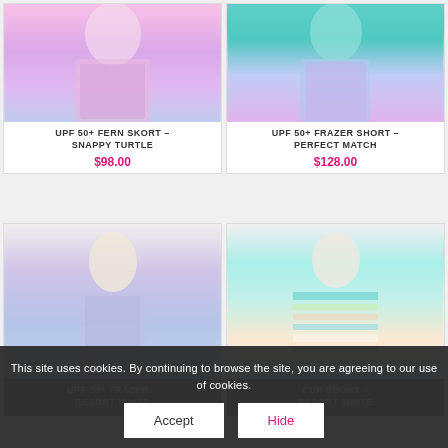[Figure (photo): Model wearing floral pink/purple skort – Snappy Turtle pattern]
UPF 50+ FERN SKORT – SNAPPY TURTLE
$98.00
[Figure (photo): Model wearing teal top with blue/pink floral short – Perfect Match pattern]
UPF 50+ FRAZER SHORT – PERFECT MATCH
$128.00
[Figure (photo): Model wearing blue/pink sleeveless floral top]
UPF 50+ FRAZER ... RESORT WHITE
[Figure (photo): Model wearing striped long-sleeve blue/green/pink top]
CUP SHORT – RESORT WHITE
This site uses cookies. By continuing to browse the site, you are agreeing to our use of cookies.
Accept
Hide